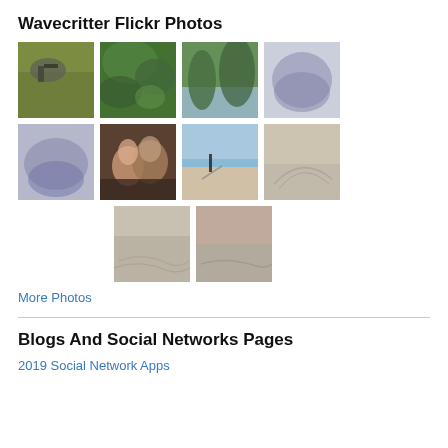Wavecritter Flickr Photos
[Figure (photo): Grid of 10 Flickr photos in 3 rows: row 1 has 4 photos (bird in grass, green foliage, trees with water reflection, misty dark landscape), row 2 has 4 photos (dark misty landscape, couple kissing, beach with person in distance, sandy beach tracks), row 3 has 2 photos (sandy beach close-up, sandy beach at dusk)]
More Photos
Blogs And Social Networks Pages
2019 Social Network Apps